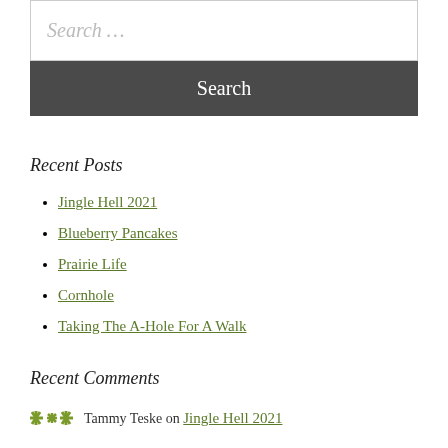Search …
Search
Recent Posts
Jingle Hell 2021
Blueberry Pancakes
Prairie Life
Cornhole
Taking The A-Hole For A Walk
Recent Comments
Tammy Teske on Jingle Hell 2021